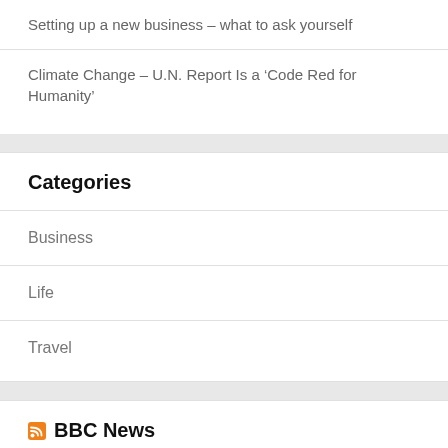Setting up a new business – what to ask yourself
Climate Change – U.N. Report Is a ‘Code Red for Humanity’
Categories
Business
Life
Travel
BBC News